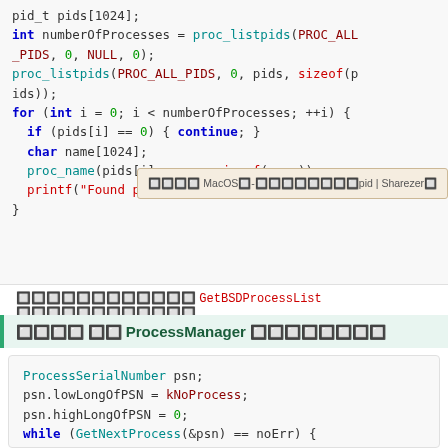[Figure (screenshot): Code block showing C/C++ code using proc_listpids to enumerate processes, with a tooltip overlay showing MacOS related text]
使用GetBSDProcessList 取得行程列表
使用 ProcessManager 取得行程列表
[Figure (screenshot): Code block showing C/C++ code using ProcessSerialNumber and GetNextProcess to enumerate processes]